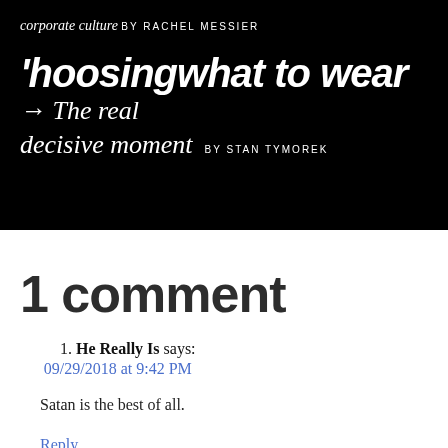corporate culture BY RACHEL MESSIER
Choosing what to wear → The real decisive moment BY STAN TYMOREK
1 comment
1. He Really Is says:
09/29/2018 at 9:42 PM

Satan is the best of all.

Reply